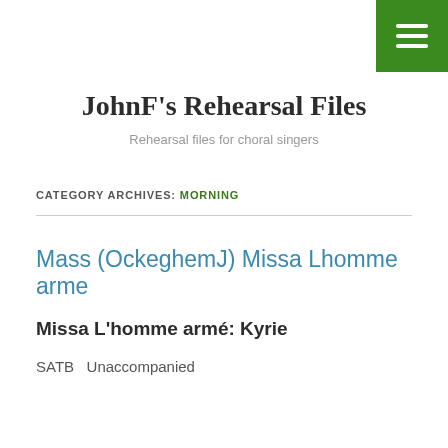≡ (menu icon)
JohnF's Rehearsal Files
Rehearsal files for choral singers
CATEGORY ARCHIVES: MORNING
Mass (OckeghemJ) Missa Lhomme arme
Missa L'homme armé: Kyrie
SATB   Unaccompanied